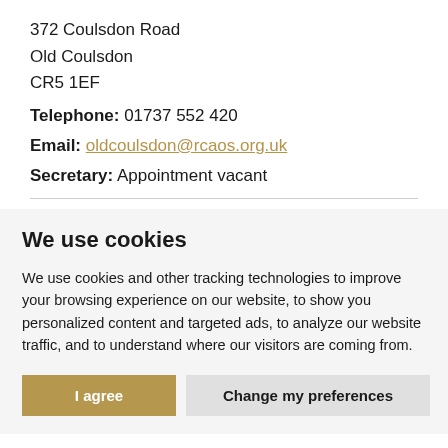372 Coulsdon Road
Old Coulsdon
CR5 1EF
Telephone: 01737 552 420
Email: oldcoulsdon@rcaos.org.uk
Secretary: Appointment vacant
We use cookies
We use cookies and other tracking technologies to improve your browsing experience on our website, to show you personalized content and targeted ads, to analyze our website traffic, and to understand where our visitors are coming from.
I agree | Change my preferences